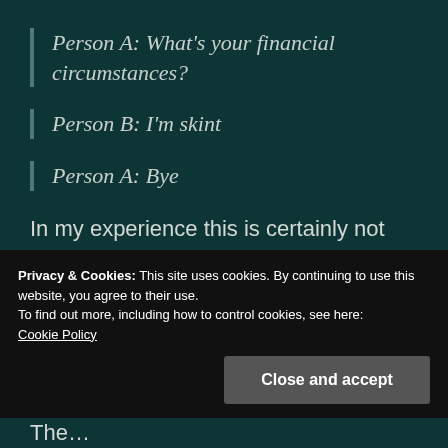Person A: What’s your financial circumstances?
Person B: I’m skint
Person A: Bye
In my experience this is certainly not true. It would be interesting to hear where Stephen is meeting these ladies? The only time I’ve ever
Privacy & Cookies: This site uses cookies. By continuing to use this website, you agree to their use.
To find out more, including how to control cookies, see here:
Cookie Policy
Close and accept
The...